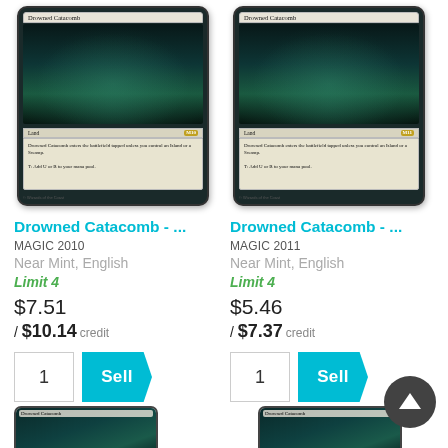[Figure (illustration): Magic: The Gathering card - Drowned Catacomb (Magic 2010 edition), showing dark underwater catacomb art with blue-black color scheme]
[Figure (illustration): Magic: The Gathering card - Drowned Catacomb (Magic 2011 edition), showing dark underwater catacomb art with blue-black color scheme]
Drowned Catacomb - ...
Drowned Catacomb - ...
MAGIC 2010
MAGIC 2011
Near Mint, English
Near Mint, English
Limit 4
Limit 4
$7.51
$5.46
/ $10.14  credit
/ $7.37  credit
[Figure (illustration): Partial view of Drowned Catacomb card at bottom left]
[Figure (illustration): Partial view of Drowned Catacomb card at bottom right]